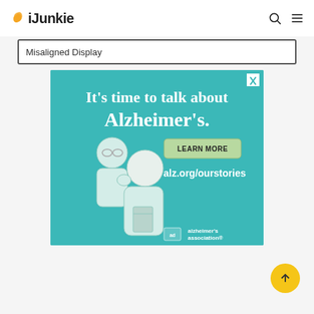iJunkie
Misaligned Display
[Figure (illustration): Advertisement banner for Alzheimer's Association: teal background with text 'It's time to talk about Alzheimer's.' and a 'LEARN MORE' button. URL: alz.org/ourstories. Illustrated cartoon of two elderly people, with Alzheimer's Association and ad logos at bottom right.]